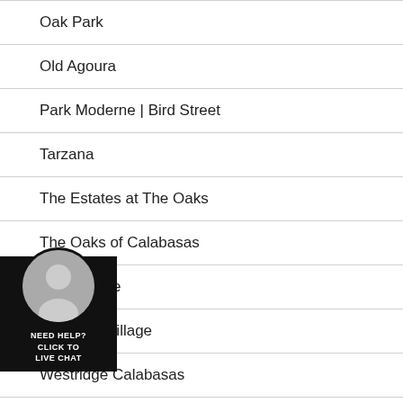Oak Park
Old Agoura
Park Moderne | Bird Street
Tarzana
The Estates at The Oaks
The Oaks of Calabasas
Vista Pointe
Westlake Village
Westridge Calabasas
Woodland Hills